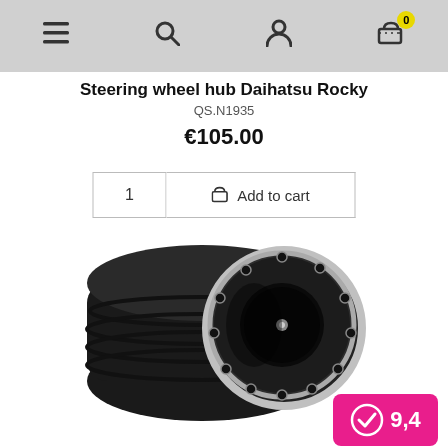Navigation bar with menu, search, account, and cart icons
Steering wheel hub Daihatsu Rocky
QS.N1935
€105.00
1  Add to cart
[Figure (photo): Black steering wheel hub adapter for Daihatsu Rocky, showing circular metal ring with bolts and central bore, viewed from front-right angle]
[Figure (other): Rating badge showing 9.4 score on pink/magenta background with checkmark circle logo]